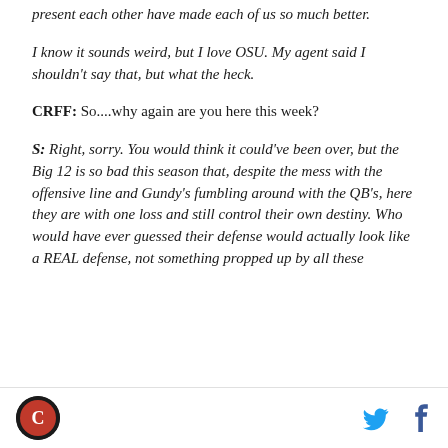present each other have made each of us so much better.
I know it sounds weird, but I love OSU. My agent said I shouldn't say that, but what the heck.
CRFF: So....why again are you here this week?
S: Right, sorry. You would think it could've been over, but the Big 12 is so bad this season that, despite the mess with the offensive line and Gundy's fumbling around with the QB's, here they are with one loss and still control their own destiny. Who would have ever guessed their defense would actually look like a REAL defense, not something propped up by all these